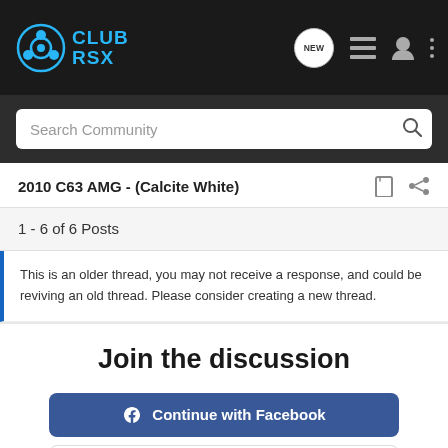CLUB RSX - navigation header
Search Community
2010 C63 AMG - (Calcite White)
1 - 6 of 6 Posts
This is an older thread, you may not receive a response, and could be reviving an old thread. Please consider creating a new thread.
Join the discussion
Continue with Facebook
Continue with Google